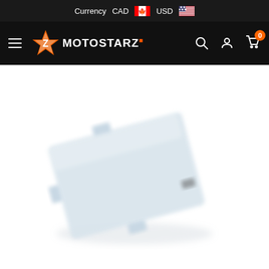Currency CAD USD
[Figure (logo): Motostarz logo with star graphic on dark navigation bar with hamburger menu, search, account, and cart icons]
[Figure (photo): Blurred product photo of a motorcycle radiator guard/grille cover, silver/aluminum colored, shot on white background at an angle]